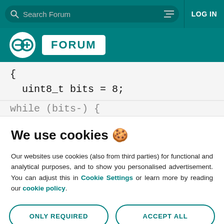Search Forum | LOG IN
[Figure (logo): Arduino Forum logo with infinity-style symbol and FORUM badge on teal background]
{
  uint8_t bits = 8;

while (bits-) {
We use cookies 🍪
Our websites use cookies (also from third parties) for functional and analytical purposes, and to show you personalised advertisement. You can adjust this in Cookie Settings or learn more by reading our cookie policy.
ONLY REQUIRED | ACCEPT ALL